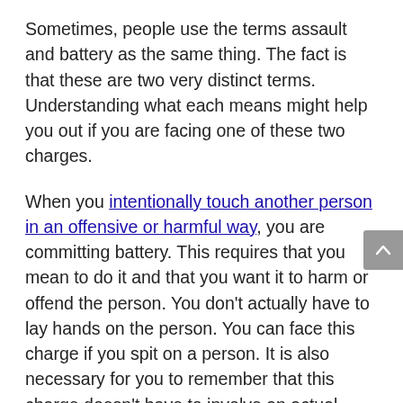Sometimes, people use the terms assault and battery as the same thing. The fact is that these are two very distinct terms. Understanding what each means might help you out if you are facing one of these two charges.
When you intentionally touch another person in an offensive or harmful way, you are committing battery. This requires that you mean to do it and that you want it to harm or offend the person. You don't actually have to lay hands on the person. You can face this charge if you spit on a person. It is also necessary for you to remember that this charge doesn't have to involve an actual injury. Just the mere touch that meets the requirements is enough for you to face this charge.